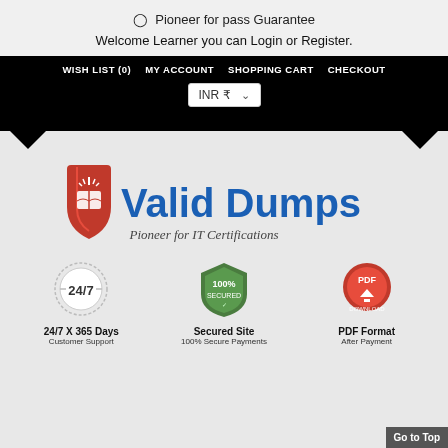⊙ Pioneer for pass Guarantee
Welcome Learner you can Login or Register.
WISH LIST (0)  MY ACCOUNT  SHOPPING CART  CHECKOUT  INR ₹
[Figure (logo): Valid Dumps logo with red shield and open book icon, blue bold text 'Valid Dumps', tagline 'Pioneer for IT Certifications']
[Figure (infographic): 24/7 circular badge icon]
24/7 X 365 Days
Customer Support
[Figure (infographic): 100% Secured green shield badge icon]
Secured Site
100% Secure Payments
[Figure (infographic): PDF Download red button icon]
PDF Format
After Payment
Go to Top